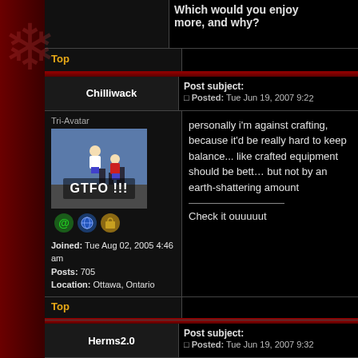Which would you enjoy more, and why?
Top
Chilliwack
Post subject: Posted: Tue Jun 19, 2007 9:22
Tri-Avatar
[Figure (photo): Avatar image showing two people fighting/wrestling with text GTFO !!! overlaid]
Joined: Tue Aug 02, 2005 4:46 am Posts: 705 Location: Ottawa, Ontario
personally i'm against crafting, because it'd be really hard to keep balance... like crafted equipment should be better but not by an earth-shattering amount

Check it ouuuuut
Top
Herms2.0
Post subject: Posted: Tue Jun 19, 2007 9:32